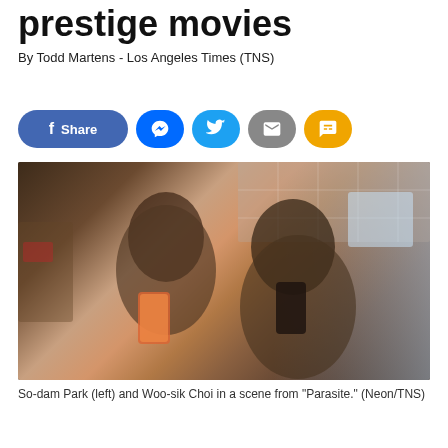prestige movies
By Todd Martens - Los Angeles Times (TNS)
[Figure (infographic): Social sharing buttons row: Facebook Share button (blue pill), Messenger button (blue circle), Twitter button (blue circle), Email button (gray circle), SMS button (yellow circle)]
[Figure (photo): So-dam Park (left) and Woo-sik Choi in a scene from 'Parasite.' Both are looking at smartphones in what appears to be a bathroom/kitchen setting with tiled walls.]
So-dam Park (left) and Woo-sik Choi in a scene from "Parasite." (Neon/TNS)